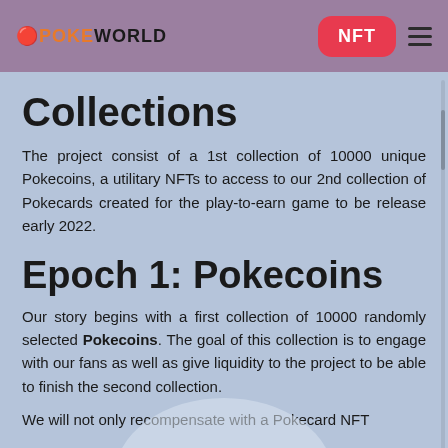POKEWORLD NFT
Collections
The project consist of a 1st collection of 10000 unique Pokecoins, a utilitary NFTs to access to our 2nd collection of Pokecards created for the play-to-earn game to be release early 2022.
Epoch 1: Pokecoins
Our story begins with a first collection of 10000 randomly selected Pokecoins. The goal of this collection is to engage with our fans as well as give liquidity to the project to be able to finish the second collection.
We will not only recompensate with a Pokecard NFT